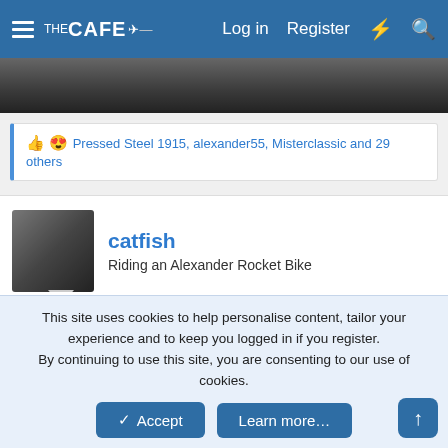THE CAFE  Log in  Register
[Figure (photo): Partial photo strip visible below the header navigation bar]
👍 😍 Pressed Steel 1915, alexander55, Misterclassic and 29 others
catfish
Riding an Alexander Rocket Bike
Apr 19, 2022   #2
Very cool bike.
This site uses cookies to help personalise content, tailor your experience and to keep you logged in if you register. By continuing to use this site, you are consenting to our use of cookies.